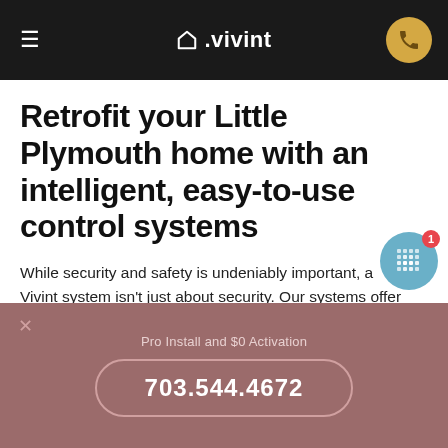≡  △.vivint
Retrofit your Little Plymouth home with an intelligent, easy-to-use control systems
While security and safety is undeniably important, a Vivint system isn't just about security. Our systems offer a number of other benefits, including convenience and comfort. We can even help you reduce your family's carbon footprint and save money on your monthly e bills.
Pro Install and $0 Activation
703.544.4672